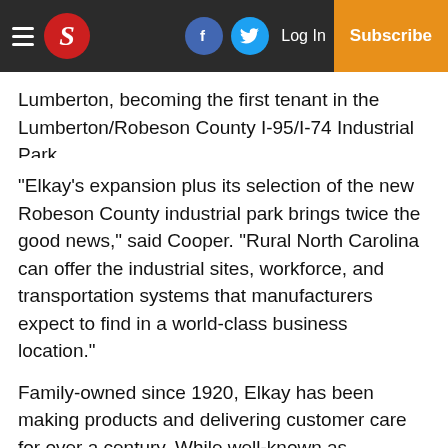S | Log In | Subscribe
Lumberton, becoming the first tenant in the Lumberton/Robeson County I-95/I-74 Industrial Park.
“Elkay’s expansion plus its selection of the new Robeson County industrial park brings twice the good news,” said Cooper. “Rural North Carolina can offer the industrial sites, workforce, and transportation systems that manufacturers expect to find in a world-class business location.”
Family-owned since 1920, Elkay has been making products and delivering customer care for over a century. While well-known as America’s top selling